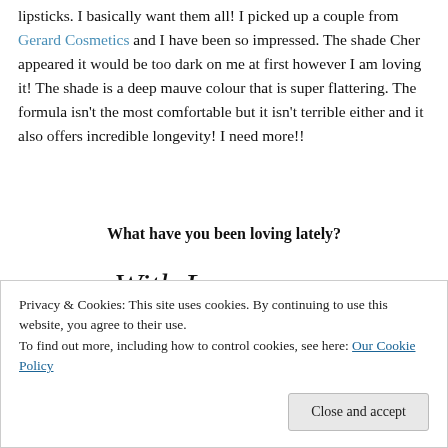lipsticks. I basically want them all! I picked up a couple from Gerard Cosmetics and I have been so impressed. The shade Cher appeared it would be too dark on me at first however I am loving it! The shade is a deep mauve colour that is super flattering. The formula isn't the most comfortable but it isn't terrible either and it also offers incredible longevity! I need more!!
What have you been loving lately?
[Figure (illustration): Handwritten cursive signature reading 'With Love Lauren ♡']
Privacy & Cookies: This site uses cookies. By continuing to use this website, you agree to their use. To find out more, including how to control cookies, see here: Our Cookie Policy